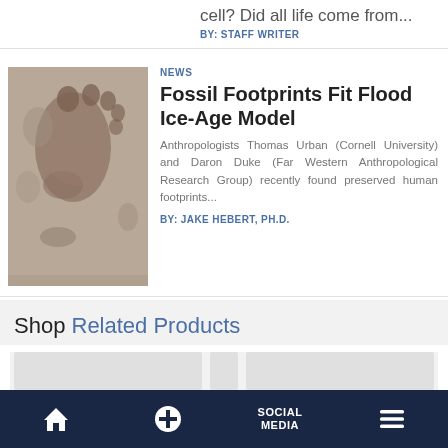cell? Did all life come from...
BY: STAFF WRITER
NEWS
Fossil Footprints Fit Flood Ice-Age Model
[Figure (photo): Photograph of fossilized human footprint pressed into sandy/muddy surface]
Anthropologists Thomas Urban (Cornell University) and Daron Duke (Far Western Anthropological Research Group) recently found preserved human footprints...
BY: JAKE HEBERT, PH.D.
Shop Related Products
Home | + | SOCIAL MEDIA | Menu